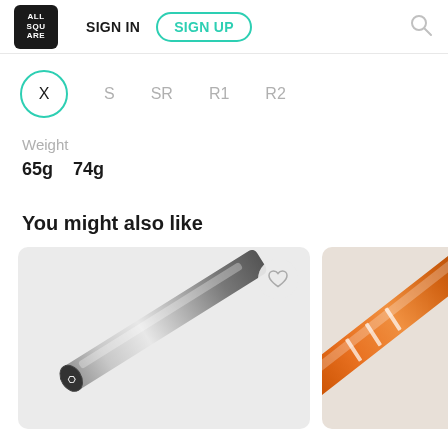ALL SQUARE — SIGN IN | SIGN UP
X
S
SR
R1
R2
Weight
65g   74g
You might also like
[Figure (photo): Golf shaft in silver/grey color shown diagonally]
[Figure (photo): Golf shaft in orange/copper color shown diagonally]